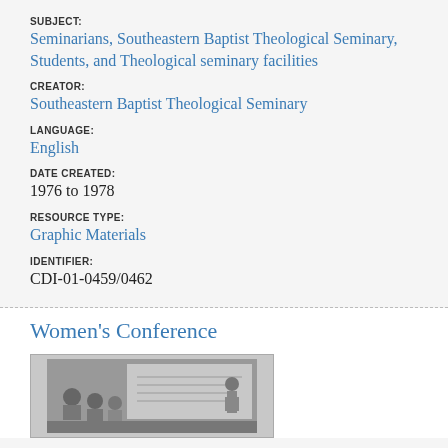SUBJECT: Seminarians, Southeastern Baptist Theological Seminary, Students, and Theological seminary facilities
CREATOR: Southeastern Baptist Theological Seminary
LANGUAGE: English
DATE CREATED: 1976 to 1978
RESOURCE TYPE: Graphic Materials
IDENTIFIER: CDI-01-0459/0462
Women's Conference
[Figure (photo): Black and white photograph showing women in what appears to be a conference or classroom setting, with figures visible and a board or wall in the background.]